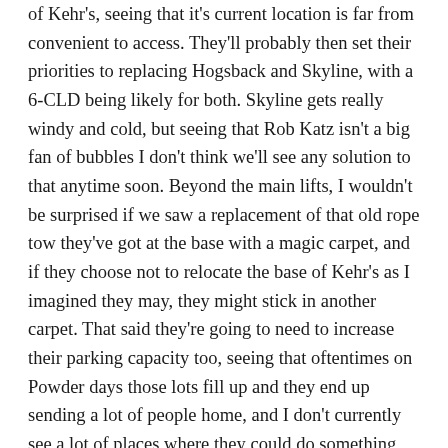of Kehr's, seeing that it's current location is far from convenient to access. They'll probably then set their priorities to replacing Hogsback and Skyline, with a 6-CLD being likely for both. Skyline gets really windy and cold, but seeing that Rob Katz isn't a big fan of bubbles I don't think we'll see any solution to that anytime soon. Beyond the main lifts, I wouldn't be surprised if we saw a replacement of that old rope tow they've got at the base with a magic carpet, and if they choose not to relocate the base of Kehr's as I imagined they may, they might stick in another carpet. That said they're going to need to increase their parking capacity too, seeing that oftentimes on Powder days those lots fill up and they end up sending a lot of people home, and I don't currently see a lot of places where they could do something like that. They did mention a lot of renovations coming to their lodges and on-mountain facilities, which could mean that they'll add in an underground parking garage somewhere, which'd be a great improvement. Additionally,